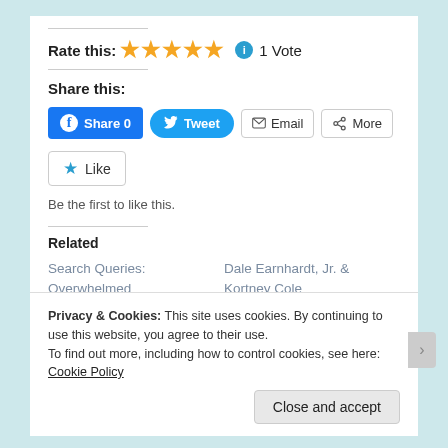Rate this: ★★★★★ ℹ 1 Vote
Share this:
Facebook Share 0 | Tweet | Email | More
Like
Be the first to like this.
Related
Search Queries: Overwhelmed
Dale Earnhardt, Jr. & Kortney Cole
Privacy & Cookies: This site uses cookies. By continuing to use this website, you agree to their use. To find out more, including how to control cookies, see here: Cookie Policy
Close and accept